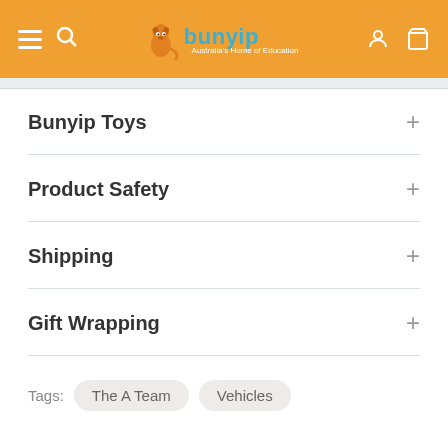[Figure (screenshot): Bunyip Toys website header with orange background, hamburger menu, search icon, logo, user icon and cart icon]
Bunyip Toys
Product Safety
Shipping
Gift Wrapping
Tags: The A Team Vehicles